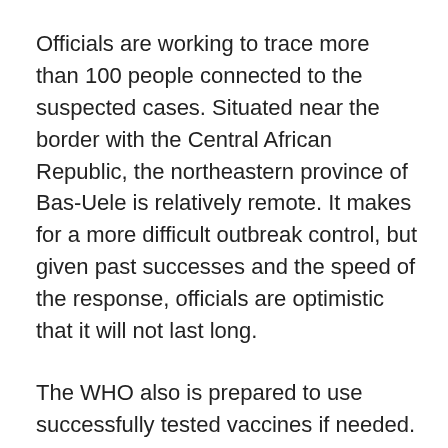Officials are working to trace more than 100 people connected to the suspected cases. Situated near the border with the Central African Republic, the northeastern province of Bas-Uele is relatively remote. It makes for a more difficult outbreak control, but given past successes and the speed of the response, officials are optimistic that it will not last long.
The WHO also is prepared to use successfully tested vaccines if needed. The rVSV-Zebov was tested in Guinea during the West African outbreak and provided complete protection, according to research published in The Lancet. There are no plans to use it